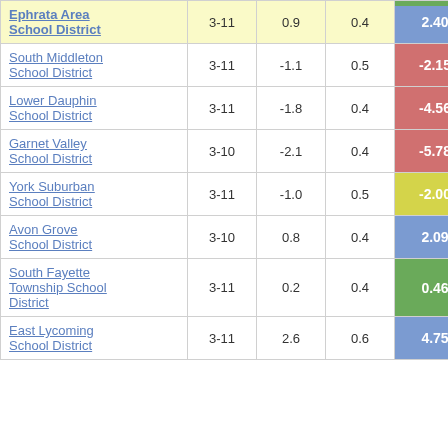| District | Grades | Col3 | Col4 | Score |
| --- | --- | --- | --- | --- |
| Ephrata Area School District | 3-11 | 0.9 | 0.4 | 2.40 |
| South Middleton School District | 3-11 | -1.1 | 0.5 | -2.15 |
| Lower Dauphin School District | 3-11 | -1.8 | 0.4 | -4.56 |
| Garnet Valley School District | 3-10 | -2.1 | 0.4 | -5.78 |
| York Suburban School District | 3-11 | -1.0 | 0.5 | -2.00 |
| Avon Grove School District | 3-10 | 0.8 | 0.4 | 2.09 |
| South Fayette Township School District | 3-11 | 0.2 | 0.4 | 0.46 |
| East Lycoming School District | 3-11 | 2.6 | 0.6 | 4.75 |